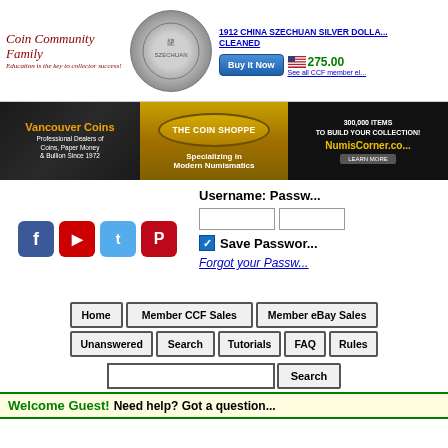[Figure (logo): Coin Community Family logo with italic script text and tagline]
[Figure (photo): 1912 China Szechuan silver dollar coin, gray/silver, circular]
1912 CHINA SZECHUAN SILVER DOLLAR CLEANED
[Figure (other): Buy It Now button (blue gradient)]
275.00
See all CCF member el...
[Figure (illustration): Vancouver Coins advertisement - Professional Dealers of Coins, Paper Money & Bullion Since 1972]
[Figure (illustration): The Coin Shoppe advertisement - Specializing in Modern Numismatics]
[Figure (illustration): NumisCorner.com advertisement - 300,000 Items To Build Your Collection]
[Figure (illustration): Social media icons: Facebook, YouTube, Twitter, Pinterest]
Username: Password
Save Password
Forgot your Password
Home
Member CCF Sales
Member eBay Sales
Unanswered
Search
Tutorials
FAQ
Rules
Search
Welcome Guest! Need help? Got a question...